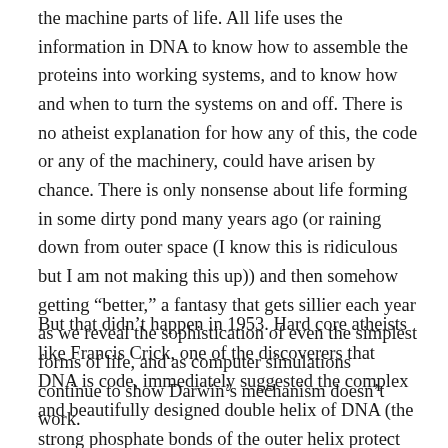the machine parts of life. All life uses the information in DNA to know how to assemble the proteins into working systems, and to know how and when to turn the systems on and off. There is no atheist explanation for how any of this, the code or any of the machinery, could have arisen by chance. There is only nonsense about life forming in some dirty pond many years ago (or raining down from outer space (I know this is ridiculous but I am not making this up)) and then somehow getting “better,” a fantasy that gets sillier each year as we reveal the sophistication of even the simplest forms of life, and as computer simulations continue to show Darwin’s mechanism doesn’t work.
But that didn’t happen in 1953. Hard core atheists like Francis Crick, one of the discoverers that DNA is code, immediately suggested the complex and beautifully designed double helix of DNA (the strong phosphate bonds of the outer helix protect the weaker bonds of the inner code, which allows the molecule to be “unzipped” for